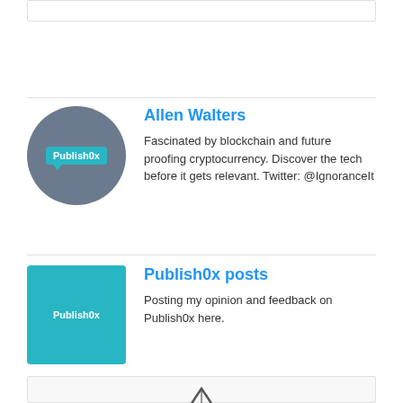[Figure (other): Empty white box at top of page]
[Figure (logo): Allen Walters profile with circular grey avatar containing Publish0x badge]
Allen Walters
Fascinated by blockchain and future proofing cryptocurrency. Discover the tech before it gets relevant. Twitter: @IgnoranceIt
[Figure (logo): Publish0x posts with teal square avatar containing Publish0x badge]
Publish0x posts
Posting my opinion and feedback on Publish0x here.
[Figure (logo): Publish0x logo with water drop icon and Publish0x text in teal]